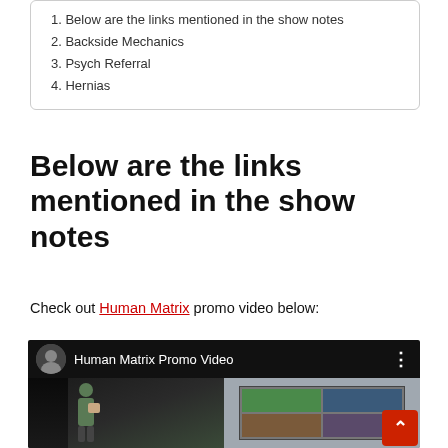1. Below are the links mentioned in the show notes
2. Backside Mechanics
3. Psych Referral
4. Hernias
Below are the links mentioned in the show notes
Check out Human Matrix promo video below:
[Figure (screenshot): YouTube video embed showing 'Human Matrix Promo Video' with a thumbnail of a person in a green jacket standing in a room with a large screen displaying multiple panels.]